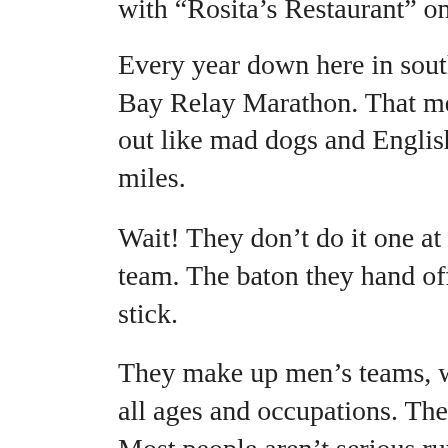with "Rosita's Restaurant" on them.
Every year down here in south Texas, we have what we call the Bay Relay Marathon. That means that thousands of dem... out like mad dogs and Englishmen into the noonday sun... miles.
Wait! They don't do it one at a time but, in groups of six... team. The baton they hand off to the runner for the next... stick.
They make up men's teams, women's teams, family tea... all ages and occupations. They usually meet a few time... Most people aren't serious runners, but just people out f... It's our favorite Corpus Christi event.
The names they choose for these teams are the subject o...
I want to award prizes for the cleverest names. I combe... Runner's Guide for my awards, looking over the 1,200 t...
And among the men's teams, the winners are:
Federales (a team of FBI agents from San Antonio)...